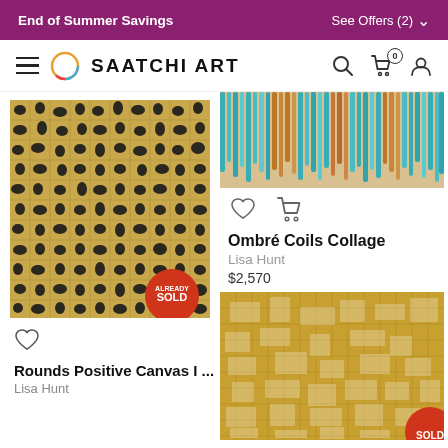End of Summer Savings | See Offers (2)
[Figure (screenshot): Saatchi Art navigation bar with hamburger menu, circular logo, SAATCHI ART text, search icon, cart icon with 0 badge, and user icon]
[Figure (photo): Abstract artwork 'Rounds Positive Canvas I' by Lisa Hunt — black organic circular patterns on gold/tan grid background, marked SOLD]
♡
Rounds Positive Canvas I ...
Lisa Hunt
[Figure (photo): Partial view of artwork 'Ombré Coils Collage' by Lisa Hunt — colorful hanging coil strands in teal, orange, copper tones]
♡  🛒
Ombré Coils Collage
Lisa Hunt
$2,570
[Figure (photo): Partial view of a gold textured abstract artwork with grid-like pattern, partially visible with a red sold badge in corner]